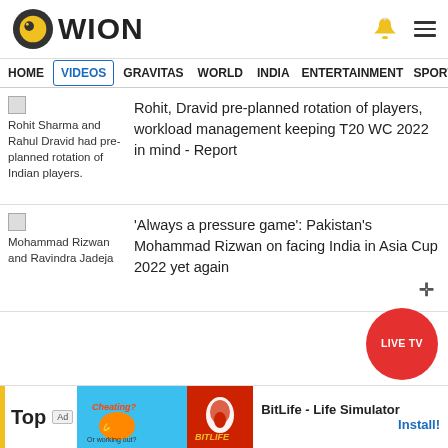[Figure (logo): WION news logo with circular icon and text]
HOME  VIDEOS  GRAVITAS  WORLD  INDIA  ENTERTAINMENT  SPORTS
Rohit Sharma and Rahul Dravid had pre-planned rotation of Indian players.
Rohit, Dravid pre-planned rotation of players, workload management keeping T20 WC 2022 in mind - Report
Mohammad Rizwan and Ravindra Jadeja
'Always a pressure game': Pakistan's Mohammad Rizwan on facing India in Asia Cup 2022 yet again
LIVE TV
Top
BitLife - Life Simulator  Install!